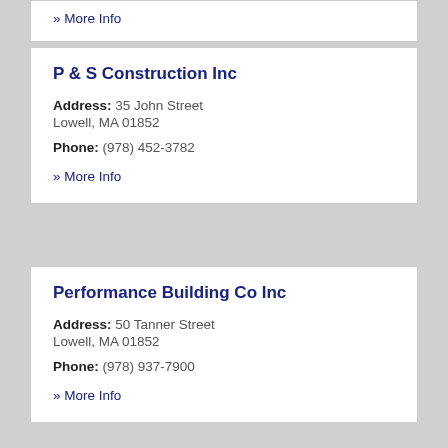» More Info
P & S Construction Inc
Address: 35 John Street Lowell, MA 01852
Phone: (978) 452-3782
» More Info
Performance Building Co Inc
Address: 50 Tanner Street Lowell, MA 01852
Phone: (978) 937-7900
» More Info